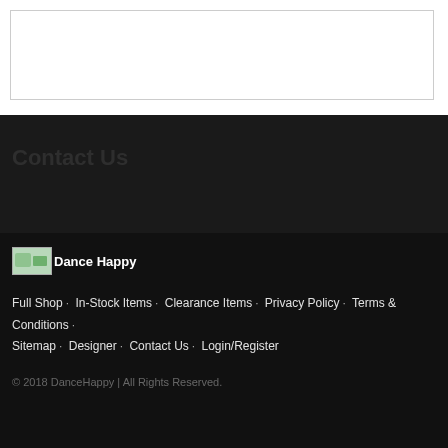[Figure (other): Empty bordered white box at the top of the page]
Contact Us
[Figure (logo): Dance Happy logo image thumbnail]
Dance Happy
Full Shop · In-Stock Items · Clearance Items · Privacy Policy · Terms & Conditions · Sitemap · Designer · Contact Us · Login/Register
© 2018 DanceHappy | All Rights Reserved.